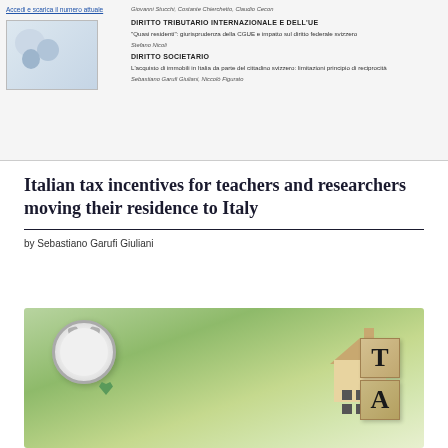[Figure (screenshot): Top banner of a legal journal showing article listings in Italian, including sections on Diritto Tributario Internazionale e dell'UE and Diritto Societario, with a thumbnail image and navigation link.]
Italian tax incentives for teachers and researchers moving their residence to Italy
by Sebastiano Garufi Giuliani
[Figure (photo): Photograph showing a small wooden house model, a silver alarm clock, a green heart, and wooden blocks spelling TAX, set against a blurred green bokeh background.]